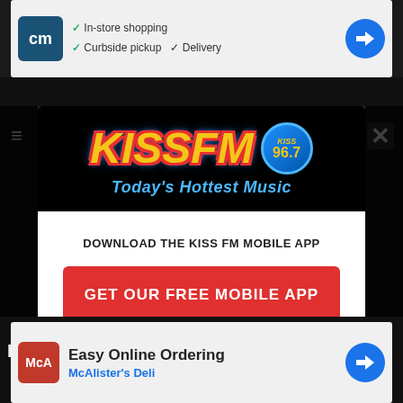[Figure (screenshot): Top advertisement banner with CM logo, checkmarks for In-store shopping, Curbside pickup, Delivery, and a blue diamond arrow icon]
[Figure (logo): KISS FM 96.7 radio station logo with yellow/red stylized text, blue circle badge, and tagline 'Today's Hottest Music' in blue italic text on black background]
DOWNLOAD THE KISS FM MOBILE APP
GET OUR FREE MOBILE APP
Also listen on:  amazon alexa
EVER
[Figure (screenshot): Bottom advertisement banner with McAlister's Deli logo and text 'Easy Online Ordering' and 'McAlister's Deli']